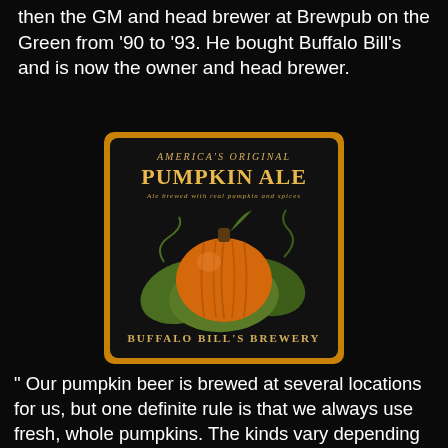then the GM and head brewer at Brewpub on the Green from '90 to '93. He bought Buffalo Bill's and is now the owner and head brewer.
[Figure (illustration): Buffalo Bill's Brewery label for America's Original Pumpkin Ale. Dark background with orange border, showing a large orange pumpkin with green leaves. Text reads: America's Original, Pumpkin Ale, Ale brewed with real pumpkin and spices, Buffalo Bill's Brewery.]
" Our pumpkin beer is brewed at several locations for us, but one definite rule is that we always use fresh, whole pumpkins. The kinds vary depending on the season and what is ripe, but we like to use Atlantic Giants and Big Macs. Both are jumbo in size and have lots of fiber. Especially the fiber makes for easier mashing.
We roast the pumpkins, since a raw pumpkin is really nothing but a squash and if you try to use them raw, nothing comes out of them. Roasting converts some of the starch